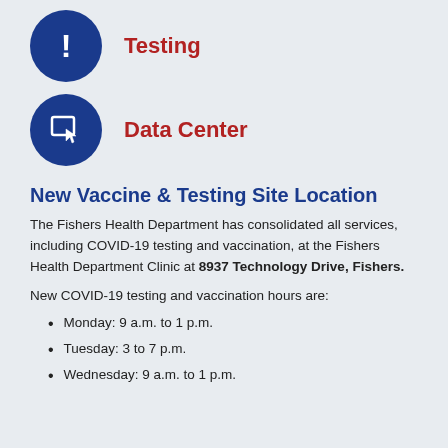[Figure (illustration): Dark blue circle icon with white exclamation mark]
Testing
[Figure (illustration): Dark blue circle icon with white cursor/touch screen symbol]
Data Center
New Vaccine & Testing Site Location
The Fishers Health Department has consolidated all services, including COVID-19 testing and vaccination, at the Fishers Health Department Clinic at 8937 Technology Drive, Fishers.
New COVID-19 testing and vaccination hours are:
Monday:  9 a.m. to 1 p.m.
Tuesday: 3 to 7 p.m.
Wednesday: 9 a.m. to 1 p.m.